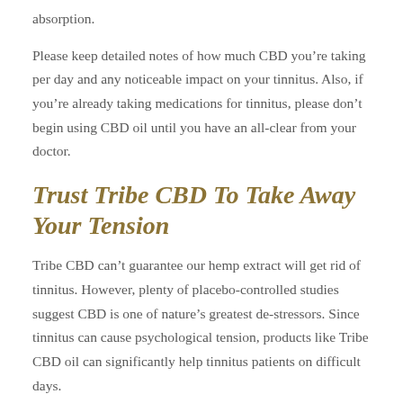absorption.
Please keep detailed notes of how much CBD you’re taking per day and any noticeable impact on your tinnitus. Also, if you’re already taking medications for tinnitus, please don’t begin using CBD oil until you have an all-clear from your doctor.
Trust Tribe CBD To Take Away Your Tension
Tribe CBD can’t guarantee our hemp extract will get rid of tinnitus. However, plenty of placebo-controlled studies suggest CBD is one of nature’s greatest de-stressors. Since tinnitus can cause psychological tension, products like Tribe CBD oil can significantly help tinnitus patients on difficult days.